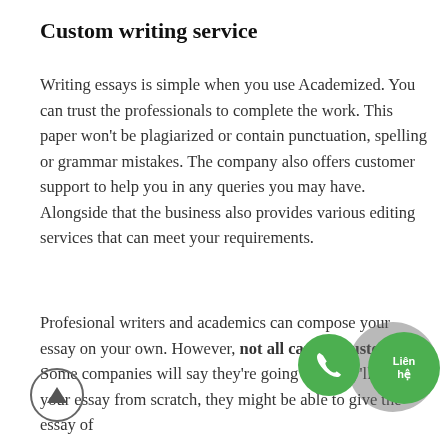Custom writing service
Writing essays is simple when you use Academized. You can trust the professionals to complete the work. This paper won't be plagiarized or contain punctuation, spelling or grammar mistakes. The company also offers customer support to help you in any queries you may have. Alongside that the business also provides various editing services that can meet your requirements.
Profesional writers and academics can compose your essay on your own. However, not all can be trusted. Some companies will say they're going that they'll write your essay from scratch, they might be able to give the essay of